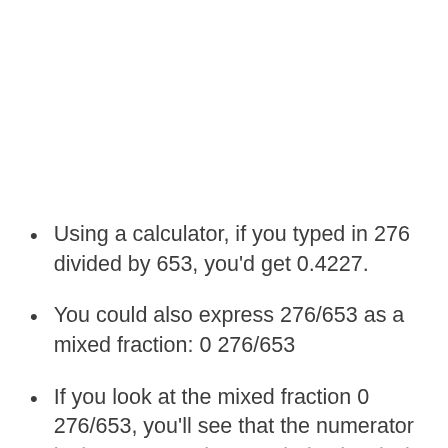Using a calculator, if you typed in 276 divided by 653, you'd get 0.4227.
You could also express 276/653 as a mixed fraction: 0 276/653
If you look at the mixed fraction 0 276/653, you'll see that the numerator is the same as the remainder (276), the denominator is our original divisor